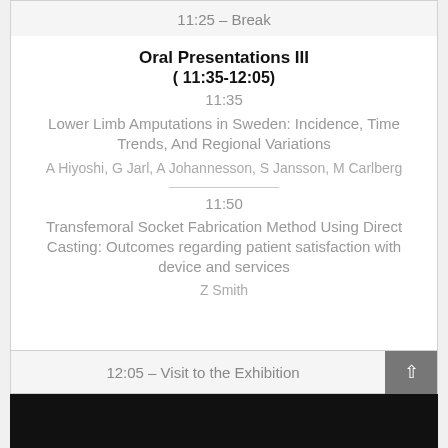11:25 – Break
Oral Presentations III
( 11:35-12:05)
11:35
Lower Limb Amputations in Sweden: Incidence, Time Trends, And Regional Variations
A Hiyoshi, G Jarl, A Johannesson, S Jansson, M Carlberg
11:50
Transfemoral Socket Fabrication Method Using Direct Casting: Outcomes regarding patient satisfaction with device and services
Z Smith
12:05 – Visit to the Exhibition